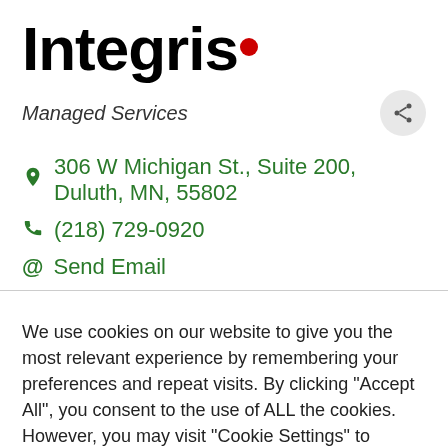[Figure (logo): Integris logo: bold black text 'Integris' followed by a red dot]
Managed Services
306 W Michigan St., Suite 200, Duluth, MN, 55802
(218) 729-0920
Send Email
We use cookies on our website to give you the most relevant experience by remembering your preferences and repeat visits. By clicking "Accept All", you consent to the use of ALL the cookies. However, you may visit "Cookie Settings" to provide a controlled consent.
Cookie Settings
Accept All